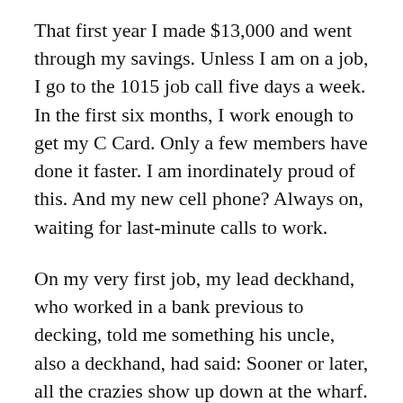That first year I made $13,000 and went through my savings. Unless I am on a job, I go to the 1015 job call five days a week. In the first six months, I work enough to get my C Card. Only a few members have done it faster. I am inordinately proud of this. And my new cell phone? Always on, waiting for last-minute calls to work.
On my very first job, my lead deckhand, who worked in a bank previous to decking, told me something his uncle, also a deckhand, had said: Sooner or later, all the crazies show up down at the wharf.
“To be honest,” I show her ... [text continues below]